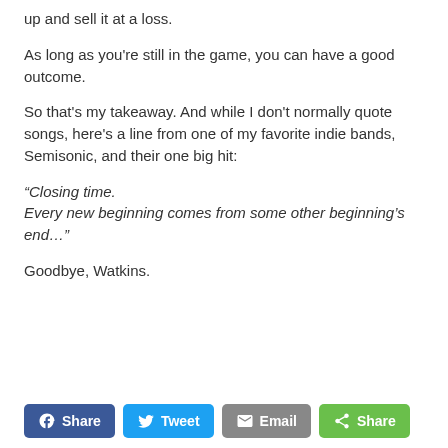up and sell it at a loss.
As long as you're still in the game, you can have a good outcome.
So that's my takeaway. And while I don't normally quote songs, here's a line from one of my favorite indie bands, Semisonic, and their one big hit:
“Closing time.
Every new beginning comes from some other beginning’s end…”
Goodbye, Watkins.